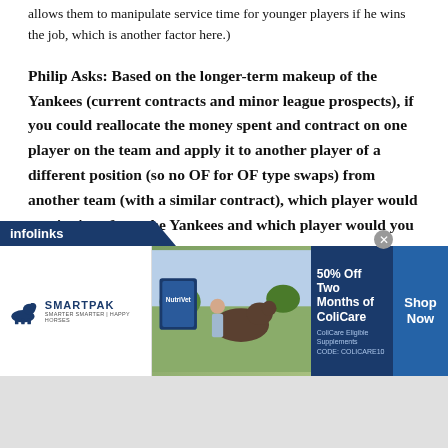allows them to manipulate service time for younger players if he wins the job, which is another factor here.)
Philip Asks: Based on the longer-term makeup of the Yankees (current contracts and minor league prospects), if you could reallocate the money spent and contract on one player on the team and apply it to another player of a different position (so no OF for OF type swaps) from another team (with a similar contract), which player would you jettison from the Yankees and which player would you bring
[Figure (other): SmartPak advertisement banner: 50% Off Two Months of ColiCare, ColiCare Eligible Supplements, CODE: COLICARE10. Shows SmartPak logo with horse icon, product image, and Shop Now button. Has infolinks bar above.]